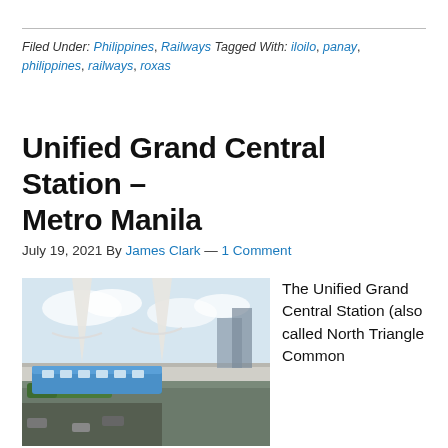Filed Under: Philippines, Railways Tagged With: iloilo, panay, philippines, railways, roxas
Unified Grand Central Station – Metro Manila
July 19, 2021 By James Clark — 1 Comment
[Figure (photo): Aerial rendering of the Unified Grand Central Station showing elevated rail tracks, a blue train, futuristic canopy structures, surrounding roads and greenery.]
The Unified Grand Central Station (also called North Triangle Common